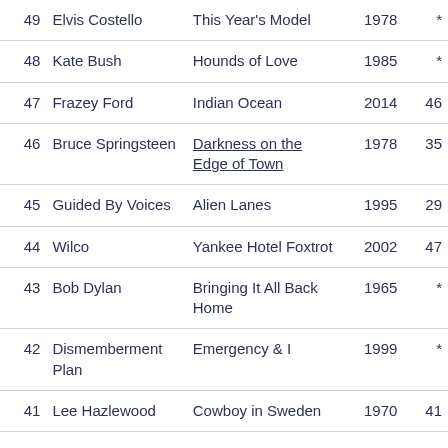| # | Artist | Album | Year | Prev |
| --- | --- | --- | --- | --- |
| 49 | Elvis Costello | This Year's Model | 1978 | * |
| 48 | Kate Bush | Hounds of Love | 1985 | * |
| 47 | Frazey Ford | Indian Ocean | 2014 | 46 |
| 46 | Bruce Springsteen | Darkness on the Edge of Town | 1978 | 35 |
| 45 | Guided By Voices | Alien Lanes | 1995 | 29 |
| 44 | Wilco | Yankee Hotel Foxtrot | 2002 | 47 |
| 43 | Bob Dylan | Bringing It All Back Home | 1965 | * |
| 42 | Dismemberment Plan | Emergency & I | 1999 | * |
| 41 | Lee Hazlewood | Cowboy in Sweden | 1970 | 41 |